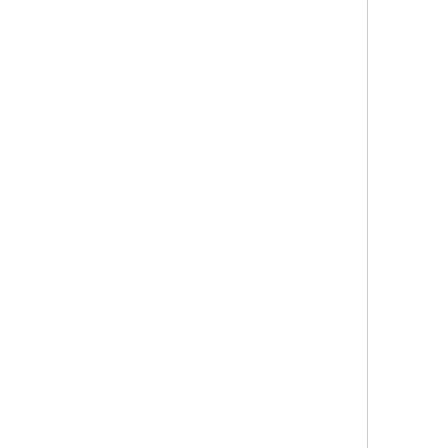sta
in
the
Hw
Ne
Ma
Ko
nat
wro
for
this
new
At
the
tim
ma
Ko
thi
anc
wri
we
get
new
ide